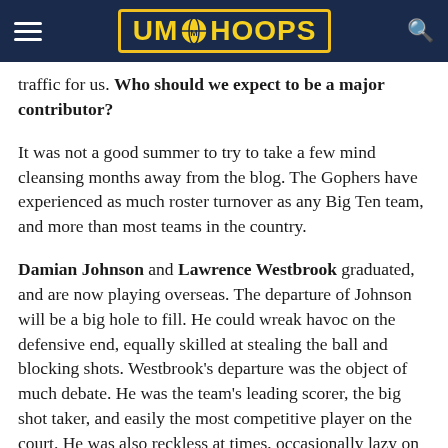UM HOOPS
traffic for us. Who should we expect to be a major contributor?
It was not a good summer to try to take a few mind cleansing months away from the blog. The Gophers have experienced as much roster turnover as any Big Ten team, and more than most teams in the country.
Damian Johnson and Lawrence Westbrook graduated, and are now playing overseas. The departure of Johnson will be a big hole to fill. He could wreak havoc on the defensive end, equally skilled at stealing the ball and blocking shots. Westbrook's departure was the object of much debate. He was the team's leading scorer, the big shot taker, and easily the most competitive player on the court. He was also reckless at times, occasionally lazy on the defensive end, and not particularly accountable for his